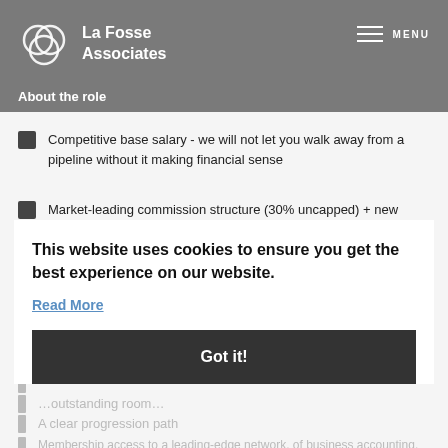La Fosse Associates — About the role — MENU
Competitive base salary - we will not let you walk away from a pipeline without it making financial sense
Market-leading commission structure (30% uncapped) + new business bonuses + cross-selling incentives
Working alongside one of the most successful cloud practices in the industry
Award-winning training and development throughout every stage of your career
(partially hidden)
(partially hidden — mentioning room)
A clear progression path
Membership access to a leading edge — of business accounting, advice, and charitable & community initiatives. The finest record, rankings, and more.
This website uses cookies to ensure you get the best experience on our website.
Read More
Got it!